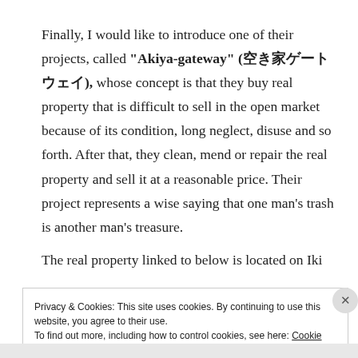Finally, I would like to introduce one of their projects, called "Akiya-gateway" (空き家ゲートウェイ), whose concept is that they buy real property that is difficult to sell in the open market because of its condition, long neglect, disuse and so forth. After that, they clean, mend or repair the real property and sell it at a reasonable price. Their project represents a wise saying that one man's trash is another man's treasure.
The real property linked to below is located on Iki
Privacy & Cookies: This site uses cookies. By continuing to use this website, you agree to their use.
To find out more, including how to control cookies, see here: Cookie Policy
[Close and accept]